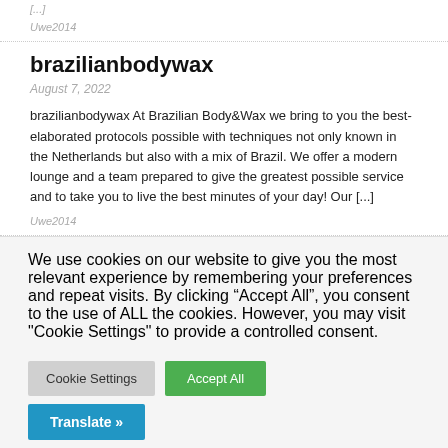[...]
Uwe2014
brazilianbodywax
August 7, 2022
brazilianbodywax  At Brazilian Body&Wax we bring to you the best-elaborated protocols possible with techniques not only known in the Netherlands but also with a mix of Brazil. We offer a modern lounge and a team prepared to give the greatest possible service and to take you to live the best minutes of your day! Our [...]
Uwe2014
We use cookies on our website to give you the most relevant experience by remembering your preferences and repeat visits. By clicking “Accept All”, you consent to the use of ALL the cookies. However, you may visit "Cookie Settings" to provide a controlled consent.
Cookie Settings
Accept All
Translate »